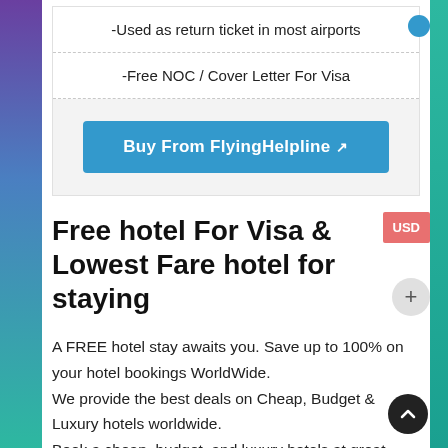-Used as return ticket in most airports
-Free NOC / Cover Letter For Visa
Buy From FlyingHelpline
Free hotel For Visa & Lowest Fare hotel for staying
A FREE hotel stay awaits you. Save up to 100% on your hotel bookings WorldWide. We provide the best deals on Cheap, Budget & Luxury hotels worldwide. Book a cheap, budget, and luxury hotels at great